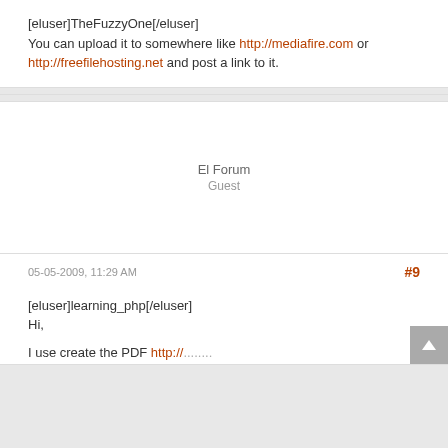[eluser]TheFuzzyOne[/eluser]
You can upload it to somewhere like http://mediafire.com or http://freefilehosting.net and post a link to it.
El Forum
Guest
05-05-2009, 11:29 AM
#9
[eluser]learning_php[/eluser]
Hi,